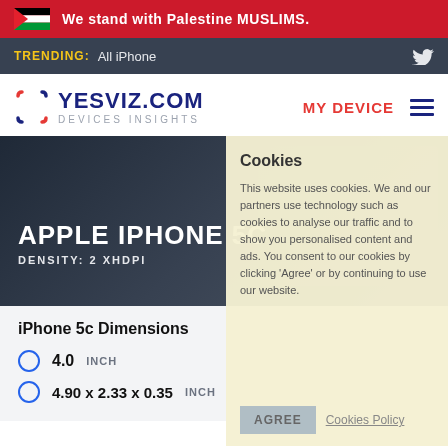We stand with Palestine MUSLIMS.
TRENDING: All iPhone
YESVIZ.COM DEVICES INSIGHTS
MY DEVICE
APPLE IPHONE 5C
DENSITY: 2 XHDPI
Cookies
This website uses cookies. We and our partners use technology such as cookies to analyse our traffic and to show you personalised content and ads. You consent to our cookies by clicking 'Agree' or by continuing to use our website.
AGREE
Cookies Policy
iPhone 5c Dimensions
4.0 INCH
4.90 x 2.33 x 0.35 INCH